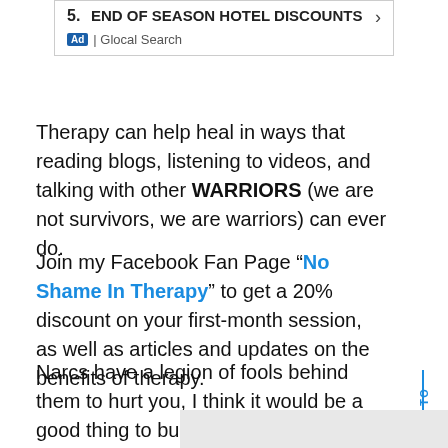[Figure (other): Advertisement box: '5. END OF SEASON HOTEL DISCOUNTS' with arrow, Ad badge and 'Glocal Search' label]
Therapy can help heal in ways that reading blogs, listening to videos, and talking with other WARRIORS (we are not survivors, we are warriors) can ever do.
Join my Facebook Fan Page “No Shame In Therapy” to get a 20% discount on your first-month session, as well as articles and updates on the benefits of therapy.
Narcs have a legion of fools behind them to hurt you, I think it would be a good thing to build your own army of warriors and allies to help stand by your side.